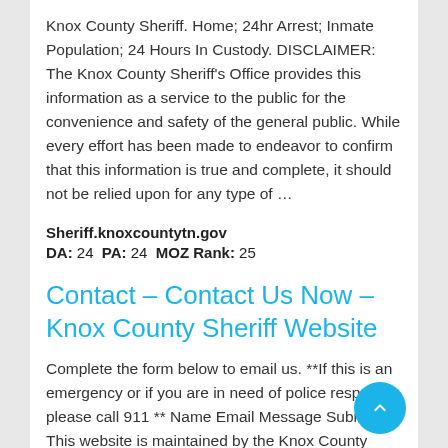Knox County Sheriff. Home; 24hr Arrest; Inmate Population; 24 Hours In Custody. DISCLAIMER: The Knox County Sheriff's Office provides this information as a service to the public for the convenience and safety of the general public. While every effort has been made to endeavor to confirm that this information is true and complete, it should not be relied upon for any type of …
Sheriff.knoxcountytn.gov
DA: 24 PA: 24 MOZ Rank: 25
Contact – Contact Us Now – Knox County Sheriff Website
Complete the form below to email us. **If this is an emergency or if you are in need of police response, please call 911 ** Name Email Message Submit. This website is maintained by the Knox County Sheriffs Office. All content and